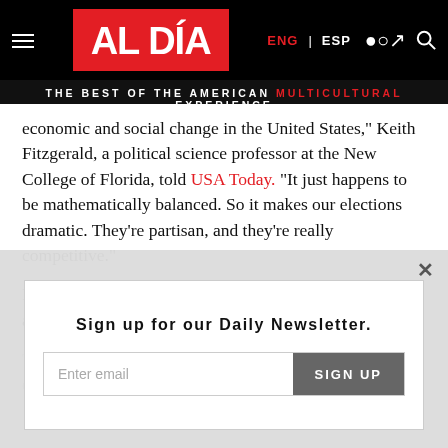AL DÍA — THE BEST OF THE AMERICAN MULTICULTURAL EXPERIENCE
economic and social change in the United States," Keith Fitzgerald, a political science professor at the New College of Florida, told USA Today. "It just happens to be mathematically balanced. So it makes our elections dramatic. They're partisan, and they're really competitive."
Fitzgerald goes further and predicts that "the potential of a replay of this (in 2020) is high."
This time, and with the aggravation of the Democratic diversity
Sign up for our Daily Newsletter.
Enter email
SIGN UP